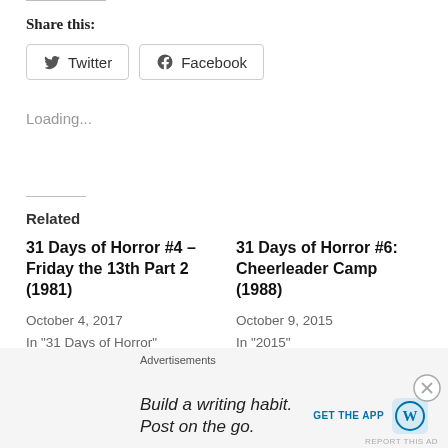Share this:
Twitter  Facebook
Loading...
Related
31 Days of Horror #4 – Friday the 13th Part 2 (1981)
October 4, 2017
In "31 Days of Horror"
31 Days of Horror #6: Cheerleader Camp (1988)
October 9, 2015
In "2015"
31 Days of Horror #14 –
Advertisements
Build a writing habit. Post on the go.
GET THE APP